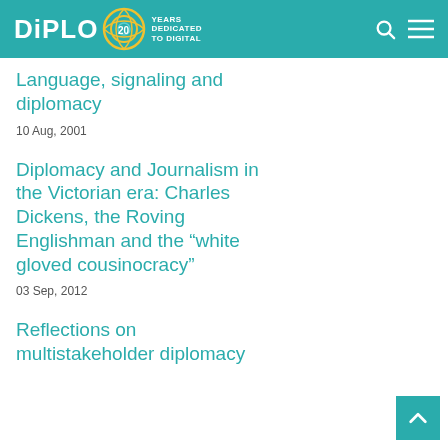DiPLO — 20 Years Dedicated to Digital
Language, signaling and diplomacy
10 Aug, 2001
Diplomacy and Journalism in the Victorian era: Charles Dickens, the Roving Englishman and the “white gloved cousinocracy”
03 Sep, 2012
Reflections on multistakeholder diplomacy